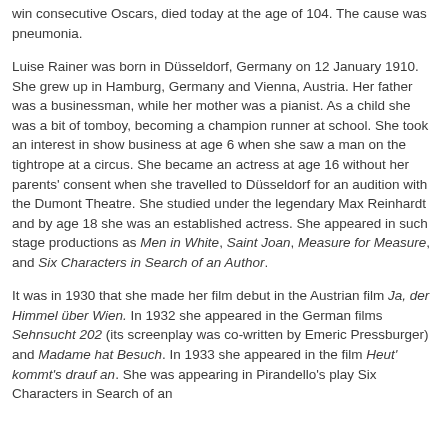win consecutive Oscars, died today at the age of 104. The cause was pneumonia.
Luise Rainer was born in Düsseldorf, Germany on 12 January 1910. She grew up in Hamburg, Germany and Vienna, Austria. Her father was a businessman, while her mother was a pianist. As a child she was a bit of tomboy, becoming a champion runner at school. She took an interest in show business at age 6 when she saw a man on the tightrope at a circus. She became an actress at age 16 without her parents' consent when she travelled to Düsseldorf for an audition with the Dumont Theatre. She studied under the legendary Max Reinhardt and by age 18 she was an established actress. She appeared in such stage productions as Men in White, Saint Joan, Measure for Measure, and Six Characters in Search of an Author.
It was in 1930 that she made her film debut in the Austrian film Ja, der Himmel über Wien. In 1932 she appeared in the German films Sehnsucht 202 (its screenplay was co-written by Emeric Pressburger) and Madame hat Besuch. In 1933 she appeared in the film Heut' kommt's drauf an. She was appearing in Pirandello's play Six Characters in Search of an